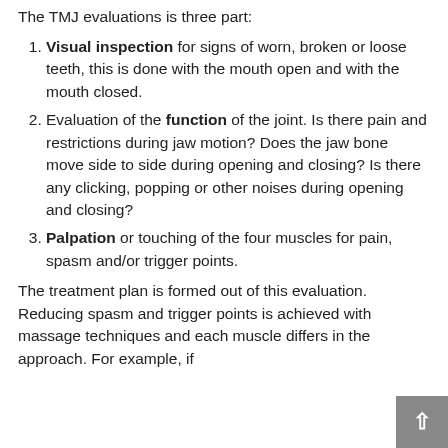The TMJ evaluations is three part:
Visual inspection for signs of worn, broken or loose teeth, this is done with the mouth open and with the mouth closed.
Evaluation of the function of the joint. Is there pain and restrictions during jaw motion? Does the jaw bone move side to side during opening and closing? Is there any clicking, popping or other noises during opening and closing?
Palpation or touching of the four muscles for pain, spasm and/or trigger points.
The treatment plan is formed out of this evaluation. Reducing spasm and trigger points is achieved with massage techniques and each muscle differs in the approach. For example, if